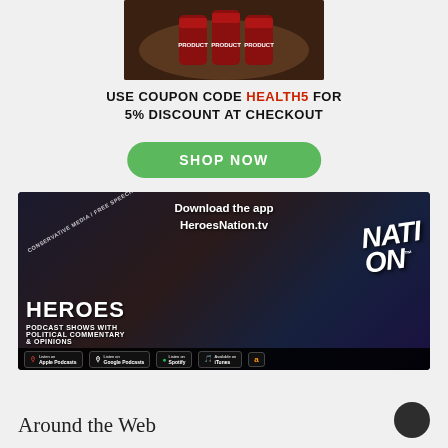[Figure (photo): Top portion of a product photo showing cans in a wicker basket on a dark background]
USE COUPON CODE HEALTH5 FOR 5% DISCOUNT AT CHECKOUT
SHOP NOW
[Figure (photo): HeroesNation.tv app advertisement banner with text 'Download the app HeroesNation.tv', CONSERVATIVE MEDIA / FREE SPEECH, HEROES NATION brand text, PODCAST SHOWS WITH POLITICAL COMMENTARY & OPINIONS, and store badges for Apple Podcasts, Google Podcasts, Spotify, iTunes, Amazon]
Around the Web